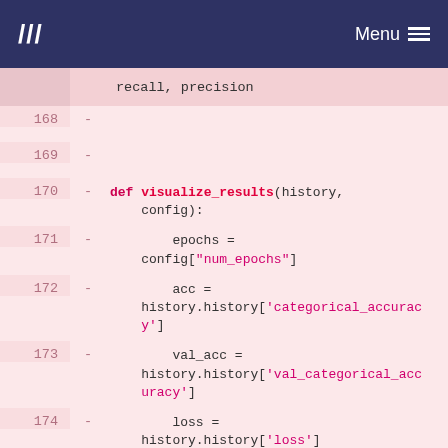/// Menu
recall, precision
168 -
169 -
170 - def visualize_results(history, config):
171 -         epochs = config["num_epochs"]
172 -         acc = history.history['categorical_accuracy']
173 -         val_acc = history.history['val_categorical_accuracy']
174 -         loss = history.history['loss']
175 -         val_loss = history.history['val_loss']
176 -
177 -         epochs_range = range(epochs)
178 -